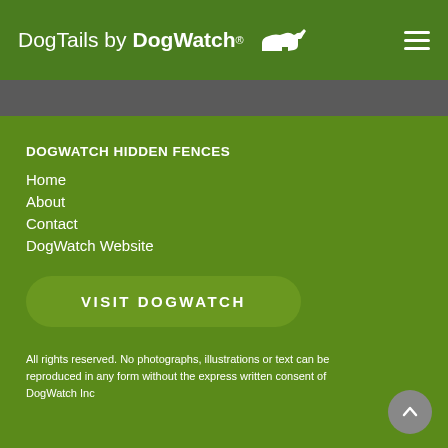DogTails by DogWatch®
DOGWATCH HIDDEN FENCES
Home
About
Contact
DogWatch Website
VISIT DOGWATCH
All rights reserved. No photographs, illustrations or text can be reproduced in any form without the express written consent of DogWatch Inc